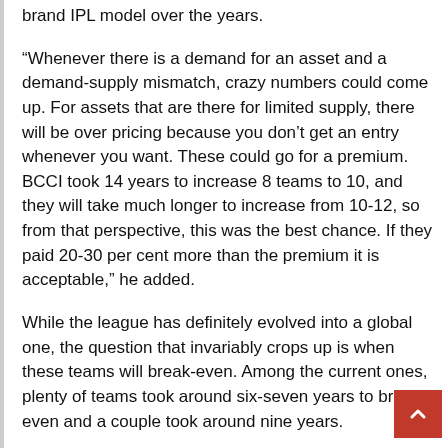brand IPL model over the years.
“Whenever there is a demand for an asset and a demand-supply mismatch, crazy numbers could come up. For assets that are there for limited supply, there will be over pricing because you don’t get an entry whenever you want. These could go for a premium. BCCI took 14 years to increase 8 teams to 10, and they will take much longer to increase from 10-12, so from that perspective, this was the best chance. If they paid 20-30 per cent more than the premium it is acceptable,” he added.
While the league has definitely evolved into a global one, the question that invariably crops up is when these teams will break-even. Among the current ones, plenty of teams took around six-seven years to break even and a couple took around nine years.
Crucially, the broadcast deal is up for re-negotiation and they expect it to be sold for around Rs 36,000 crore